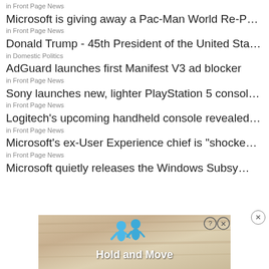in Front Page News
Microsoft is giving away a Pac-Man World Re-Pac Xbox ...
in Front Page News
Donald Trump - 45th President of the United States
in Domestic Politics
AdGuard launches first Manifest V3 ad blocker
in Front Page News
Sony launches new, lighter PlayStation 5 console revisi...
in Front Page News
Logitech's upcoming handheld console revealed in leak...
in Front Page News
Microsoft's ex-User Experience chief is "shocked" by po...
in Front Page News
Microsoft quietly releases the Windows Subsystem for
[Figure (screenshot): Advertisement banner showing 'Hold and Move' app with blue cartoon figures on a wooden background, with close (X) and info (?) buttons in top right.]